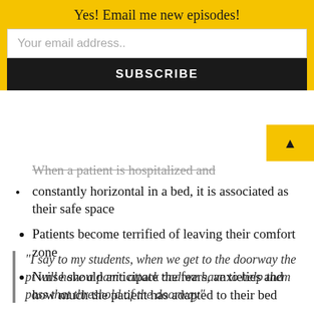Yes! Email me new episodes!
Your email address..
SUBSCRIBE
When a patient is hospitalized and constantly horizontal in a bed, it is associated as their safe space
Patients become terrified of leaving their comfort zone
Nurse should anticipate the fears, anxieties and how much the patient has adapted to their bed
“I say to my students, when we get to the doorway the pt will have a panic attack and we have to help them pass that threshold of the doorway”